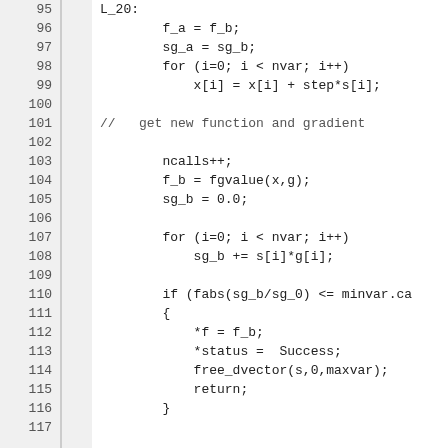Code listing lines 95-117 showing C code for gradient descent / line search: L_20 label, f_a=f_b, sg_a=sg_b, for loop updating x[i], comment get new function and gradient, ncalls++, f_b=fgvalue(x,g), sg_b=0.0, for loop sg_b+=s[i]*g[i], if fabs(sg_b/sg_0) <= minvar.ca block with *f=f_b, *status=Success, free_dvector, return, closing brace